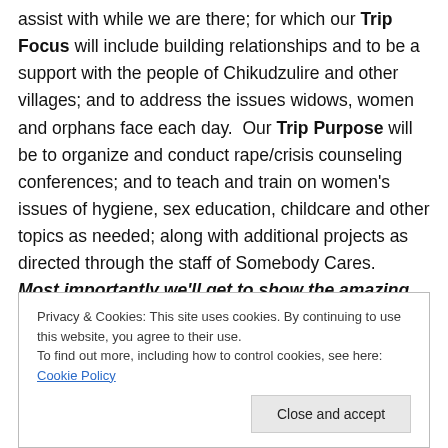assist with while we are there; for which our Trip Focus will include building relationships and to be a support with the people of Chikudzulire and other villages; and to address the issues widows, women and orphans face each day. Our Trip Purpose will be to organize and conduct rape/crisis counseling conferences; and to teach and train on women's issues of hygiene, sex education, childcare and other topics as needed; along with additional projects as directed through the staff of Somebody Cares. Most importantly we'll get to show the amazing love of Jesus to some of the most hurting and impoverished
Privacy & Cookies: This site uses cookies. By continuing to use this website, you agree to their use.
To find out more, including how to control cookies, see here: Cookie Policy